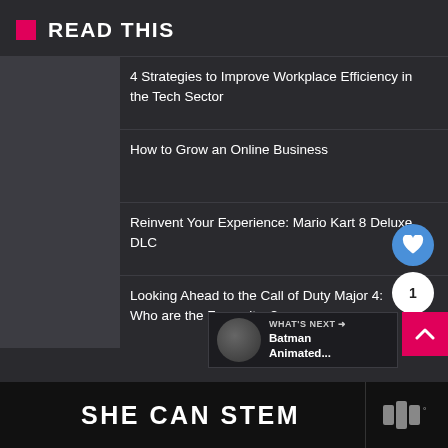READ THIS
4 Strategies to Improve Workplace Efficiency in the Tech Sector
How to Grow an Online Business
Reinvent Your Experience: Mario Kart 8 Deluxe DLC
Looking Ahead to the Call of Duty Major 4: Who are the Favourites?
[Figure (screenshot): WHAT'S NEXT banner with Batman Animated... thumbnail]
[Figure (infographic): SHE CAN STEM bottom banner with logo]